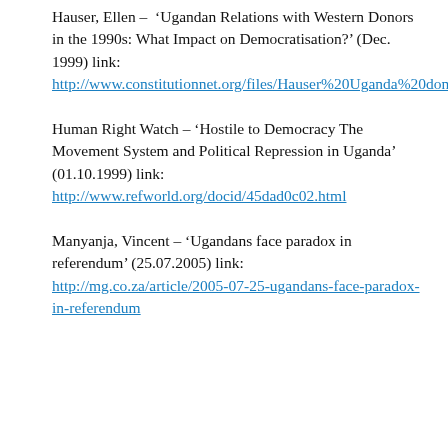Hauser, Ellen – 'Ugandan Relations with Western Donors in the 1990s: What Impact on Democratisation?' (Dec. 1999) link: http://www.constitutionnet.org/files/Hauser%20Uganda%20donors.pdf
Human Right Watch – 'Hostile to Democracy The Movement System and Political Repression in Uganda' (01.10.1999) link: http://www.refworld.org/docid/45dad0c02.html
Manyanja, Vincent – 'Ugandans face paradox in referendum' (25.07.2005) link: http://mg.co.za/article/2005-07-25-ugandans-face-paradox-in-referendum